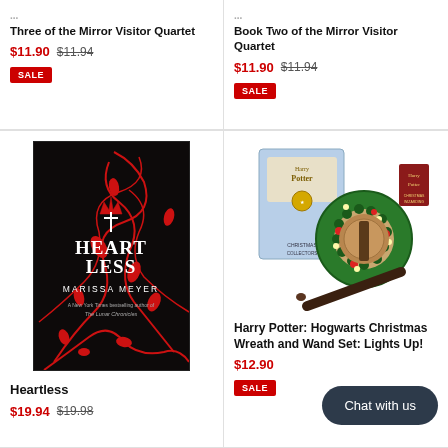The Memory of Earth: Book Three of the Mirror Visitor Quartet
$11.90  $11.94
SALE
The Missing of Clairdelune: Book Two of the Mirror Visitor Quartet
$11.90  $11.94
SALE
[Figure (photo): Book cover of Heartless by Marissa Meyer — black background with red thorn vines and a crown, white title text]
Heartless
$19.94  $19.98
[Figure (photo): Harry Potter Hogwarts Christmas Wreath and Wand Set product photo showing box, ornament wreath, and wand]
Harry Potter: Hogwarts Christmas Wreath and Wand Set: Lights Up!
$12.90
SALE
Chat with us